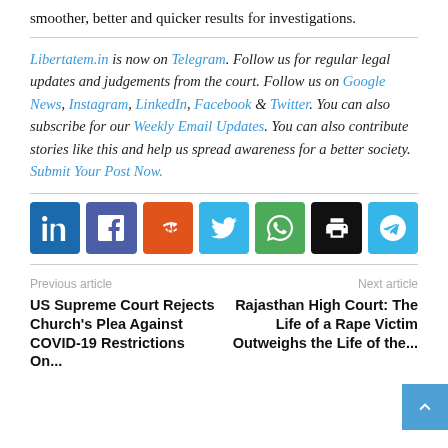smoother, better and quicker results for investigations.
Libertatem.in is now on Telegram. Follow us for regular legal updates and judgements from the court. Follow us on Google News, Instagram, LinkedIn, Facebook & Twitter. You can also subscribe for our Weekly Email Updates. You can also contribute stories like this and help us spread awareness for a better society. Submit Your Post Now.
[Figure (infographic): Row of 7 social media share buttons: LinkedIn (blue), Facebook (purple), Reddit (orange), Twitter (light blue), WhatsApp (green), Print (black), Telegram (light blue)]
Previous article
Next article
US Supreme Court Rejects Church's Plea Against COVID-19 Restrictions On...
Rajasthan High Court: The Life of a Rape Victim Outweighs the Life of the...